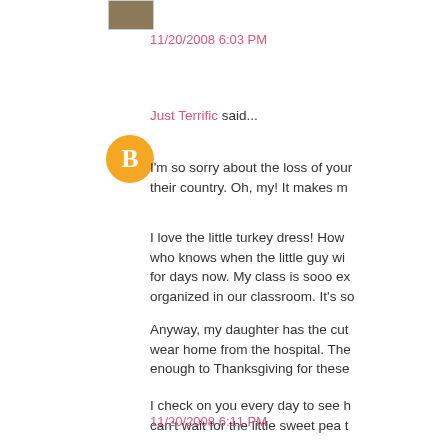[Figure (photo): Small thumbnail image of a building/house]
11/20/2008 6:03 PM
Just Terrific said...
[Figure (logo): Orange circular Blogger avatar with white B letter]
I'm so sorry about the loss of your their country. Oh, my! It makes m
I love the little turkey dress! How who knows when the little guy wi for days now. My class is sooo ex organized in our classroom. It's so
Anyway, my daughter has the cut wear home from the hospital. The enough to Thanksgiving for these
I check on you every day to see h can't wait for the little sweet pea t
11/20/2008 6:11 PM
Unknown said...